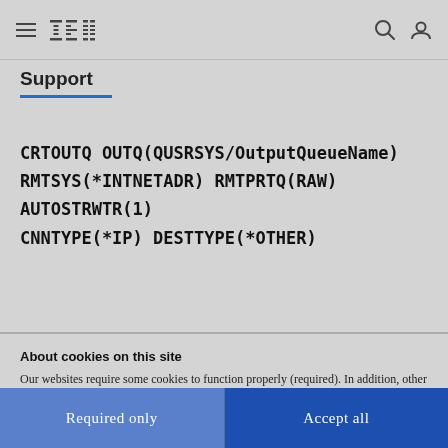IBM Support
Support
CRTOUTQ OUTQ(QUSRSYS/OutputQueueName) RMTSYS(*INTNETADR) RMTPRTQ(RAW) AUTOSTRWTR(1) CNNTYPE(*IP) DESTTYPE(*OTHER)
About cookies on this site
Our websites require some cookies to function properly (required). In addition, other cookies may be used with your consent to analyze site usage, improve the user experience and for advertising.

For more information, please review your Cookie preferences options and IBM's privacy statement.
Required only
Accept all